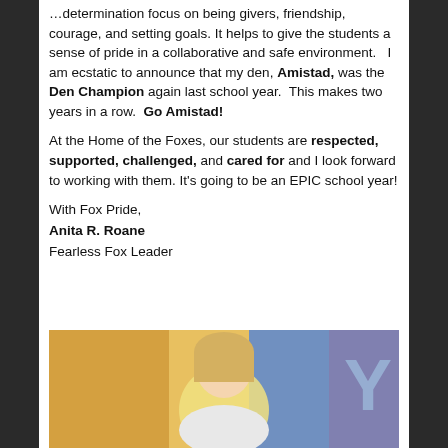…determination focus on being givers, friendship, courage, and setting goals. It helps to give the students a sense of pride in a collaborative and safe environment.  I am ecstatic to announce that my den, Amistad, was the Den Champion again last school year.  This makes two years in a row.  Go Amistad!
At the Home of the Foxes, our students are respected, supported, challenged, and cared for and I look forward to working with them. It's going to be an EPIC school year!
With Fox Pride,
Anita R. Roane
Fearless Fox Leader
[Figure (photo): Photo of a woman with blonde hair smiling, standing in front of a colorful mural with a letter Y visible in the background.]